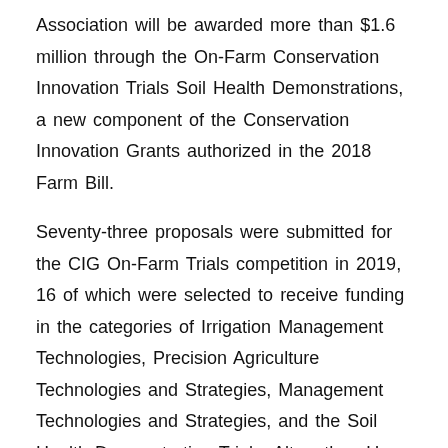Association will be awarded more than $1.6 million through the On-Farm Conservation Innovation Trials Soil Health Demonstrations, a new component of the Conservation Innovation Grants authorized in the 2018 Farm Bill.
Seventy-three proposals were submitted for the CIG On-Farm Trials competition in 2019, 16 of which were selected to receive funding in the categories of Irrigation Management Technologies, Precision Agriculture Technologies and Strategies, Management Technologies and Strategies, and the Soil Health Demonstration Trials. Altogether, USDA NRCS will award $24,314,560 to projects that will impact 23 states.